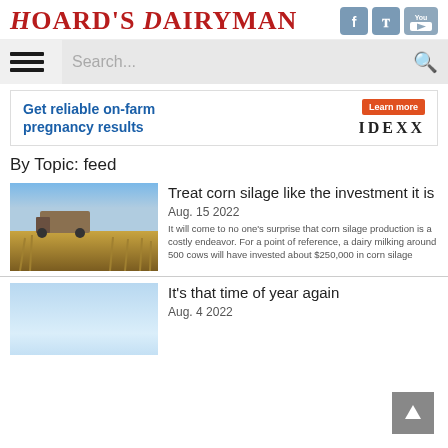Hoard's Dairyman
[Figure (logo): Social media icons for Facebook, Twitter, and YouTube]
[Figure (screenshot): Navigation bar with hamburger menu and search field]
[Figure (infographic): IDEXX advertisement: Get reliable on-farm pregnancy results. Learn more button.]
By Topic: feed
[Figure (photo): Farm field with harvesting equipment and corn stalks in foreground]
Treat corn silage like the investment it is
Aug. 15 2022
It will come to no one's surprise that corn silage production is a costly endeavor. For a point of reference, a dairy milking around 500 cows will have invested about $250,000 in corn silage
[Figure (photo): Light blue sky photo thumbnail]
It's that time of year again
Aug. 4 2022